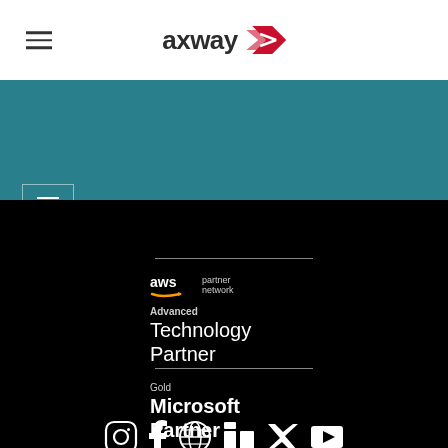[Figure (logo): Axway logo with hamburger menu icon in top white navigation bar]
[Figure (screenshot): Teal/blue-green navigation bar with hamburger menu icon in bordered box]
[Figure (infographic): Social media icons row on black background: Instagram, Facebook, a globe/network icon, LinkedIn, Twitter, YouTube]
[Figure (logo): AWS Partner Network logo — Advanced Technology Partner badge with horizontal dividers]
Advanced
Technology Partner
Gold
Microsoft Partner